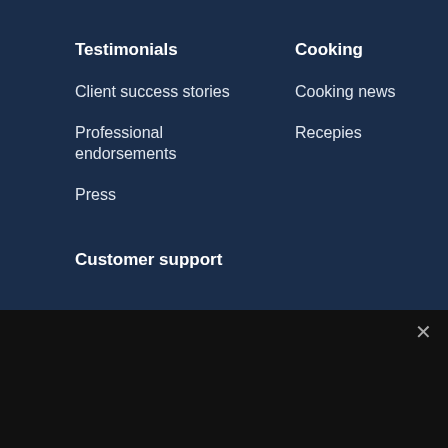Testimonials
Client success stories
Professional endorsements
Press
Cooking
Cooking news
Recepies
Customer support
Nous utilisons des cookies pour vous garantir la meilleure expérience sur notre site web. Si vous continuez à utiliser ce site, nous supposerons que vous en êtes satisfait.
Ok  Politique de confidentialité